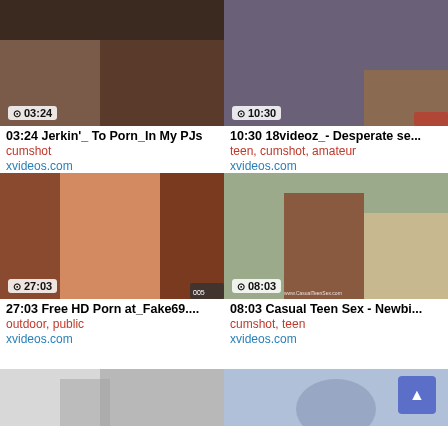[Figure (screenshot): Video thumbnail 1 - close-up adult content with time badge 03:24]
[Figure (screenshot): Video thumbnail 2 - adult content with time badge 10:30]
03:24 Jerkin'_ To Porn_In My PJs
cumshot
xvideos.com
10:30 18videoz_- Desperate se...
teen, cumshot, amateur
xvideos.com
[Figure (screenshot): Video thumbnail 3 - adult content with time badge 27:03]
[Figure (screenshot): Video thumbnail 4 - adult content with time badge 08:03]
27:03 Free HD Porn at_Fake69....
outdoor, public
xvideos.com
08:03 Casual Teen Sex - Newbi...
cumshot, teen
xvideos.com
[Figure (screenshot): Video thumbnail 5 - adult content, partially visible]
[Figure (screenshot): Video thumbnail 6 - adult content, partially visible with scroll-to-top button overlay]